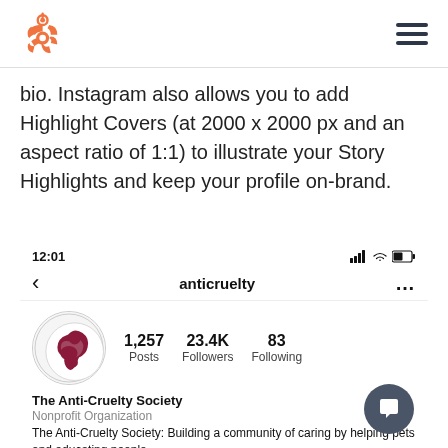HubSpot logo and navigation menu
bio. Instagram also allows you to add Highlight Covers (at 2000 x 2000 px and an aspect ratio of 1:1) to illustrate your Story Highlights and keep your profile on-brand.
[Figure (screenshot): Instagram mobile profile screenshot showing anticruelty account with 1,257 Posts, 23.4K Followers, 83 Following. Profile name: The Anti-Cruelty Society. Category: Nonprofit Organization. Bio: The Anti-Cruelty Society: Building a community of caring by helping pets and educating people. Chicago, IL]